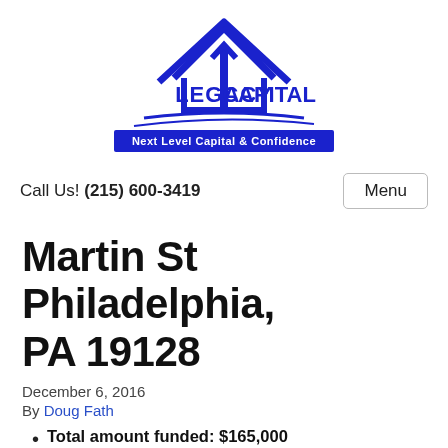[Figure (logo): Legacy Capital logo — blue house outline with number 1 inside, text LEGACY CAPITAL below, tagline Next Level Capital & Confidence on blue background banner]
Call Us! (215) 600-3419
Martin St Philadelphia, PA 19128
December 6, 2016
By Doug Fath
Total amount funded: $165,000